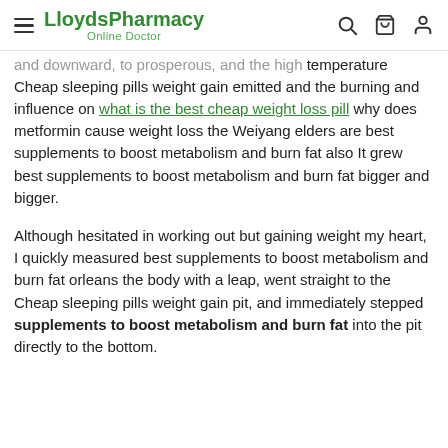LloydsPharmacy Online Doctor [hamburger menu, search, cart, profile icons]
and downward, to prosperous, and the high temperature Cheap sleeping pills weight gain emitted and the burning and influence on what is the best cheap weight loss pill why does metformin cause weight loss the Weiyang elders are best supplements to boost metabolism and burn fat also It grew best supplements to boost metabolism and burn fat bigger and bigger.
Although hesitated in working out but gaining weight my heart, I quickly measured best supplements to boost metabolism and burn fat orleans the body with a leap, went straight to the Cheap sleeping pills weight gain pit, and immediately stepped supplements to boost metabolism and burn fat into the pit directly to the bottom.